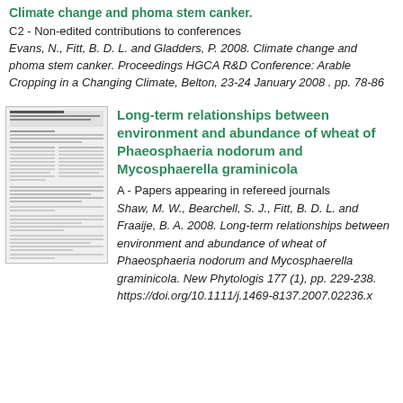Climate change and phoma stem canker
C2 - Non-edited contributions to conferences
Evans, N., Fitt, B. D. L. and Gladders, P. 2008. Climate change and phoma stem canker. Proceedings HGCA R&D Conference: Arable Cropping in a Changing Climate, Belton, 23-24 January 2008 . pp. 78-86
[Figure (other): Thumbnail image of a multi-page scientific article about long-term relationships between environment and abundance of wheat pathogens]
Long-term relationships between environment and abundance of wheat of Phaeosphaeria nodorum and Mycosphaerella graminicola
A - Papers appearing in refereed journals
Shaw, M. W., Bearchell, S. J., Fitt, B. D. L. and Fraaije, B. A. 2008. Long-term relationships between environment and abundance of wheat of Phaeosphaeria nodorum and Mycosphaerella graminicola. New Phytologist 177 (1), pp. 229-238. https://doi.org/10.1111/j.1469-8137.2007.02236.x